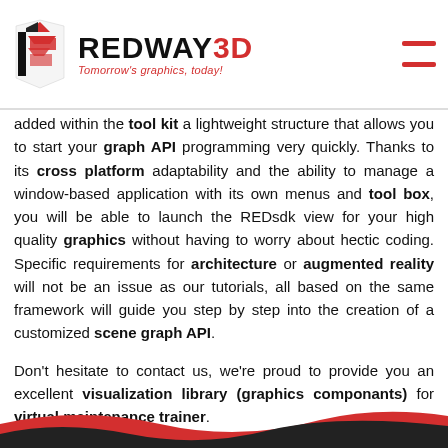REDWAY3D — Tomorrow's graphics, today!
added within the tool kit a lightweight structure that allows you to start your graph API programming very quickly. Thanks to its cross platform adaptability and the ability to manage a window-based application with its own menus and tool box, you will be able to launch the REDsdk view for your high quality graphics without having to worry about hectic coding. Specific requirements for architecture or augmented reality will not be an issue as our tutorials, all based on the same framework will guide you step by step into the creation of a customized scene graph API.
Don't hesitate to contact us, we're proud to provide you an excellent visualization library (graphics componants) for virtual maintenance trainer.